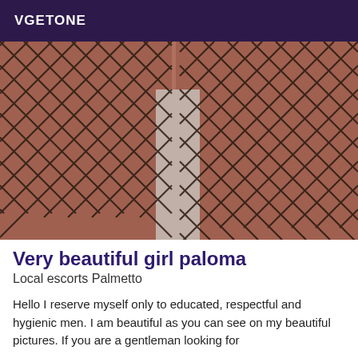VGETONE
[Figure (photo): Close-up photo of legs wearing black fishnet stockings/tights against a light gray background]
Very beautiful girl paloma
Local escorts Palmetto
Hello I reserve myself only to educated, respectful and hygienic men. I am beautiful as you can see on my beautiful pictures. If you are a gentleman looking for